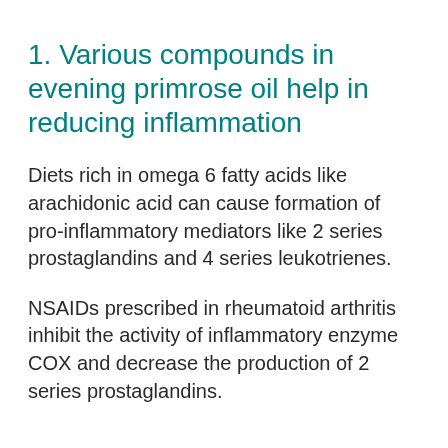1. Various compounds in evening primrose oil help in reducing inflammation
Diets rich in omega 6 fatty acids like arachidonic acid can cause formation of pro-inflammatory mediators like 2 series prostaglandins and 4 series leukotrienes.
NSAIDs prescribed in rheumatoid arthritis inhibit the activity of inflammatory enzyme COX and decrease the production of 2 series prostaglandins.